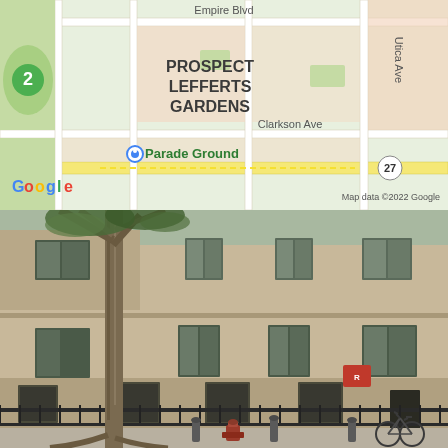[Figure (map): Google Maps screenshot showing Prospect Lefferts Gardens neighborhood in Brooklyn, NY. Labels include Empire Blvd, Utica Ave, Clarkson Ave, Parade Ground, route marker 27, Google logo, and Map data ©2022 Google watermark.]
[Figure (photo): Street-level photo of a 3-story tan/beige brick apartment building in Prospect Lefferts Gardens, Brooklyn. A large bare-trunk tree is in the foreground on the sidewalk. Black iron fence runs along the front. A fire hydrant, bollards, and a parked bicycle are visible on the sidewalk.]